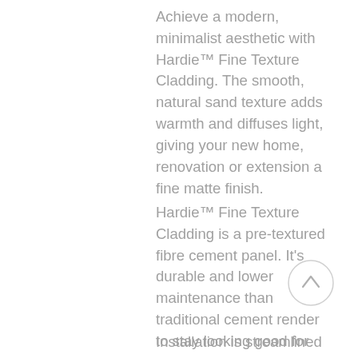Achieve a modern, minimalist aesthetic with Hardie™ Fine Texture Cladding. The smooth, natural sand texture adds warmth and diffuses light, giving your new home, renovation or extension a fine matte finish.
Hardie™ Fine Texture Cladding is a pre-textured fibre cement panel. It's durable and lower maintenance than traditional cement render to stay looking good for many years to come.
Installation is streamlined and